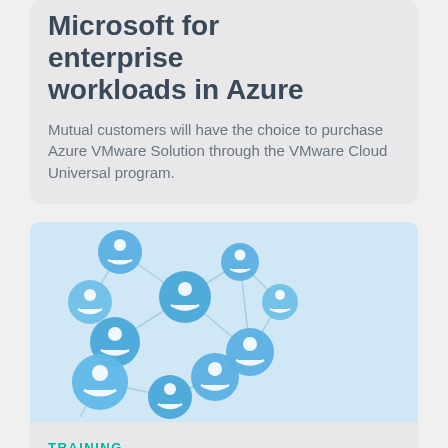Microsoft for enterprise workloads in Azure
Mutual customers will have the choice to purchase Azure VMware Solution through the VMware Cloud Universal program.
[Figure (illustration): Network of blue spheres with white person icons connected by lines on a light blue background]
TRAINING
HP reveals new enhancements and initiatives for